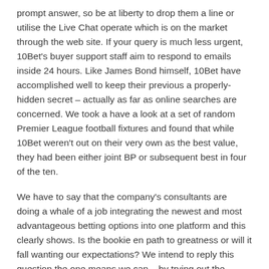prompt answer, so be at liberty to drop them a line or utilise the Live Chat operate which is on the market through the web site. If your query is much less urgent, 10Bet's buyer support staff aim to respond to emails inside 24 hours. Like James Bond himself, 10Bet have accomplished well to keep their previous a properly-hidden secret – actually as far as online searches are concerned. We took a have a look at a set of random Premier League football fixtures and found that while 10Bet weren't out on their very own as the best value, they had been either joint BP or subsequent best in four of the ten.
We have to say that the company's consultants are doing a whale of a job integrating the newest and most advantageous betting options into one platform and this clearly shows. Is the bookie en path to greatness or will it fall wanting our expectations? We intend to reply this question the one means we can – by trying out the betting platform all and...